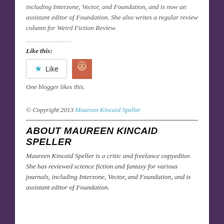including Interzone, Vector, and Foundation, and is now an assistant editor of Foundation. She also writes a regular review column for Weird Fiction Review.
Like this:
[Figure (other): Like button with star icon and avatar of a woman]
One blogger likes this.
© Copyright 2013 Maureen Kincaid Speller
ABOUT MAUREEN KINCAID SPELLER
Maureen Kincaid Speller is a critic and freelance copyeditor. She has reviewed science fiction and fantasy for various journals, including Interzone, Vector, and Foundation, and is assistant editor of Foundation.